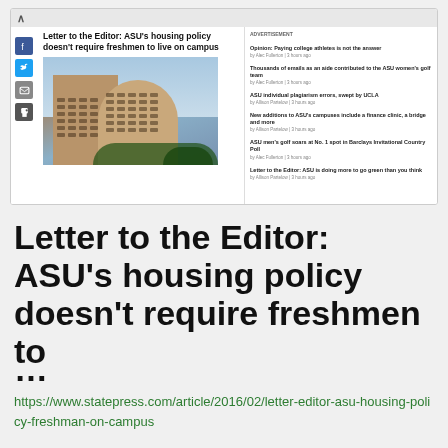[Figure (screenshot): Browser screenshot showing a news article page from ASU State Press with headline 'Letter to the Editor: ASU's housing policy doesn't require freshmen to live on campus', a photo of a tall campus building, social media share icons, and a sidebar with related articles.]
Letter to the Editor: ASU's housing policy doesn't require freshmen to
...
https://www.statepress.com/article/2016/02/letter-editor-asu-housing-policy-freshman-on-campus